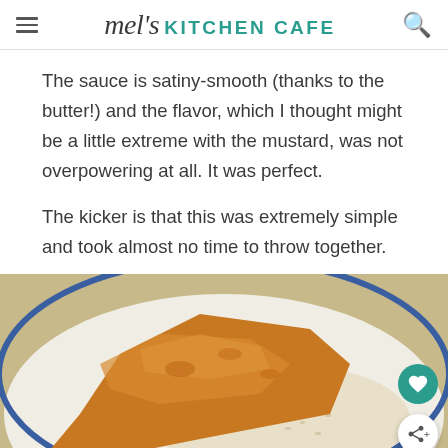mel's KITCHEN CAFE
The sauce is satiny-smooth (thanks to the butter!) and the flavor, which I thought might be a little extreme with the mustard, was not overpowering at all. It was perfect.
The kicker is that this was extremely simple and took almost no time to throw together.
[Figure (photo): Close-up photo of a glazed/sauced fish fillet served on a plate with white rice, on a white plate with a blue rim border.]